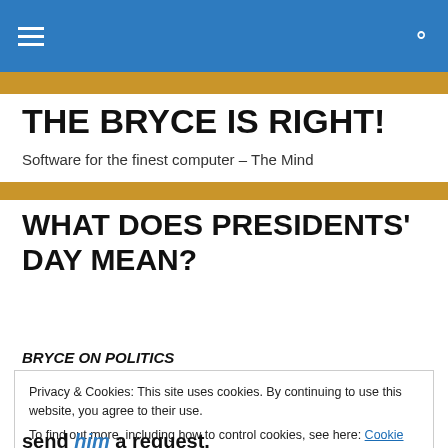THE BRYCE IS RIGHT! — navigation bar
THE BRYCE IS RIGHT!
Software for the finest computer – The Mind
WHAT DOES PRESIDENTS' DAY MEAN?
BRYCE ON POLITICS
Privacy & Cookies: This site uses cookies. By continuing to use this website, you agree to their use.
To find out more, including how to control cookies, see here: Cookie Policy
Close and accept
send him a request.